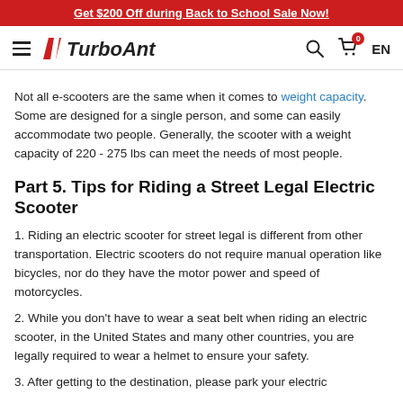Get $200 Off during Back to School Sale Now!
[Figure (logo): TurboAnt brand logo with hamburger menu, search icon, cart icon with badge '0', and EN language selector]
Not all e-scooters are the same when it comes to weight capacity. Some are designed for a single person, and some can easily accommodate two people. Generally, the scooter with a weight capacity of 220 - 275 lbs can meet the needs of most people.
Part 5. Tips for Riding a Street Legal Electric Scooter
1. Riding an electric scooter for street legal is different from other transportation. Electric scooters do not require manual operation like bicycles, nor do they have the motor power and speed of motorcycles.
2. While you don't have to wear a seat belt when riding an electric scooter, in the United States and many other countries, you are legally required to wear a helmet to ensure your safety.
3. After getting to the destination, please park your electric